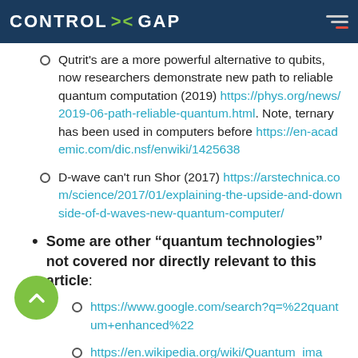CONTROL > GAP
Qutrit's are a more powerful alternative to qubits, now researchers demonstrate new path to reliable quantum computation (2019) https://phys.org/news/2019-06-path-reliable-quantum.html. Note, ternary has been used in computers before https://en-academic.com/dic.nsf/enwiki/1425638
D-wave can't run Shor (2017) https://arstechnica.com/science/2017/01/explaining-the-upside-and-downside-of-d-waves-new-quantum-computer/
Some are other “quantum technologies” not covered nor directly relevant to this article:
https://www.google.com/search?q=%22quantum+enhanced%22
https://en.wikipedia.org/wiki/Quantum_ima